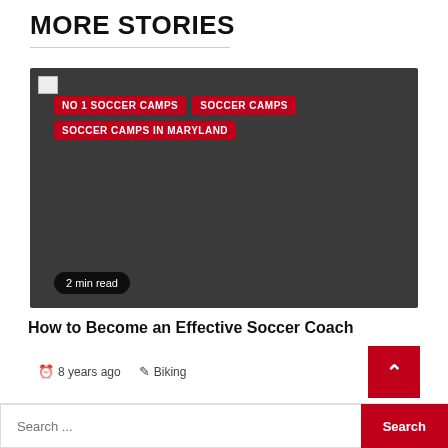MORE STORIES
[Figure (photo): Dark gray placeholder image card for article about soccer coaching, with tags NO 1 SOCCER CAMPS, SOCCER CAMPS, SOCCER CAMPS IN MARYLAND overlaid at top, and a '2 min read' badge at bottom left.]
How to Become an Effective Soccer Coach
8 years ago   Biking
Search ...
Search